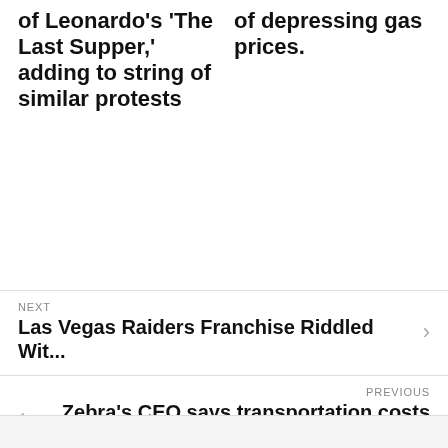of Leonardo's 'The Last Supper,' adding to string of similar protests
of depressing gas prices.
NEXT
Las Vegas Raiders Franchise Riddled Wit...
PREVIOUS
Zebra's CEO says transportation costs a...